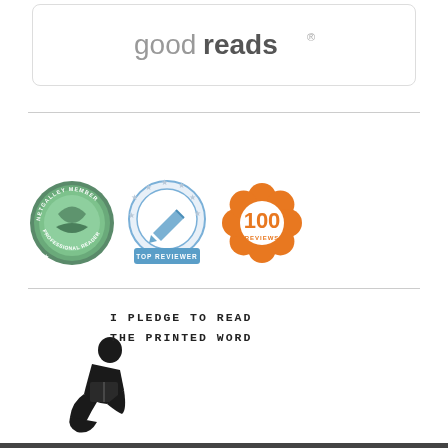[Figure (logo): Goodreads logo in a rounded rectangle box]
[Figure (illustration): Three badges: NetGalley Member Professional Reader badge (green circle), Top Reviewer badge (blue circle with stars), and 100 Reviews badge (orange flower shape)]
[Figure (illustration): I Pledge to Read the Printed Word - silhouette of child reading with pledge text in typewriter font]